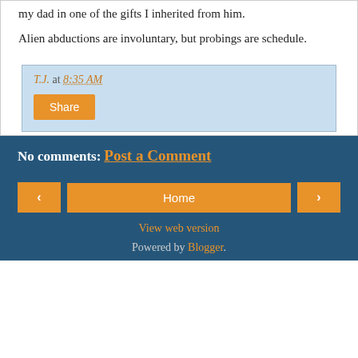my dad in one of the gifts I inherited from him.
Alien abductions are involuntary, but probings are schedule.
T.J. at 8:35 AM
Share
No comments:
Post a Comment
‹
Home
›
View web version
Powered by Blogger.